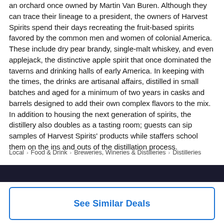an orchard once owned by Martin Van Buren. Although they can trace their lineage to a president, the owners of Harvest Spirits spend their days recreating the fruit-based spirits favored by the common men and women of colonial America. These include dry pear brandy, single-malt whiskey, and even applejack, the distinctive apple spirit that once dominated the taverns and drinking halls of early America. In keeping with the times, the drinks are artisanal affairs, distilled in small batches and aged for a minimum of two years in casks and barrels designed to add their own complex flavors to the mix. In addition to housing the next generation of spirits, the distillery also doubles as a tasting room; guests can sip samples of Harvest Spirits' products while staffers school them on the ins and outs of the distillation process.
Local > Food & Drink > Breweries, Wineries & Distilleries > Distilleries
See Similar Deals